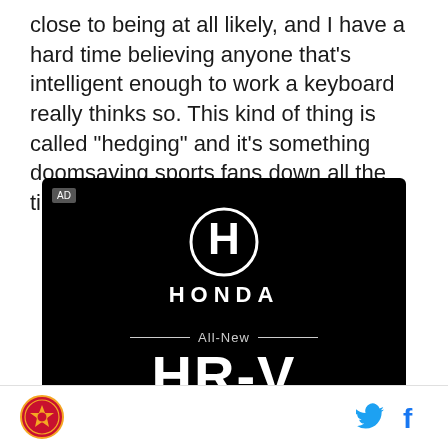close to being at all likely, and I have a hard time believing anyone that's intelligent enough to work a keyboard really thinks so. This kind of thing is called "hedging" and it's something doomsaying sports fans down all the time. It's beyond annoying.
[Figure (photo): Honda advertisement on black background showing Honda logo, 'All-New HR-V' text, and 'Powered by determination.' tagline. AD label in top left corner.]
[Figure (logo): Footer with a sports team logo icon on the left and Twitter and Facebook social media icons on the right.]